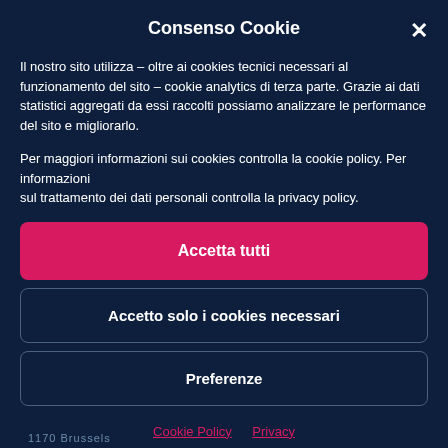Consenso Cookie
Il nostro sito utilizza – oltre ai cookies tecnici necessari al funzionamento del sito – cookie analytics di terza parte. Grazie ai dati statistici aggregati da essi raccolti possiamo analizzare le performance del sito e migliorarlo.
Per maggiori informazioni sui cookies controlla la cookie policy. Per informazioni sul trattamento dei dati personali controlla la privacy policy.
Accetta tutti
Accetto solo i cookies necessari
Preferenze
Cookie Policy    Privacy
1170 Brussels